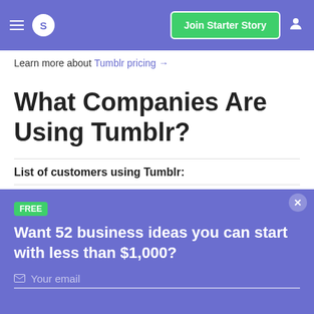S  Join Starter Story
Learn more about Tumblr pricing →
What Companies Are Using Tumblr?
List of customers using Tumblr:
| # | Customer | Type | Descrip |
| --- | --- | --- | --- |
FREE
Want 52 business ideas you can start with less than $1,000?
Your email